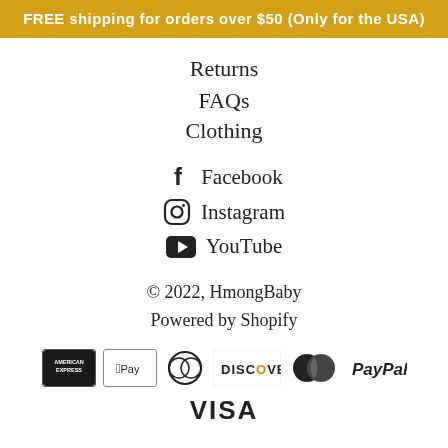FREE shipping for orders over $50 (Only for the USA)
Returns
FAQs
Clothing
Facebook
Instagram
YouTube
© 2022, HmongBaby
Powered by Shopify
[Figure (logo): Payment method logos: American Express, Apple Pay, Diners Club, Discover, MasterCard, PayPal, Visa]